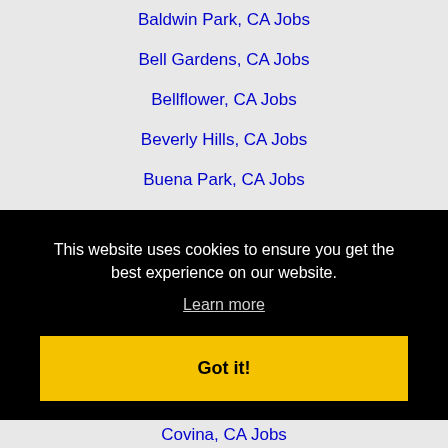Baldwin Park, CA Jobs
Bell Gardens, CA Jobs
Bellflower, CA Jobs
Beverly Hills, CA Jobs
Buena Park, CA Jobs
Burbank, CA Jobs
Camarillo, CA Jobs
Carlsbad, CA Jobs
Carson, CA Jobs
This website uses cookies to ensure you get the best experience on our website.
Learn more
Got it!
Covina, CA Jobs